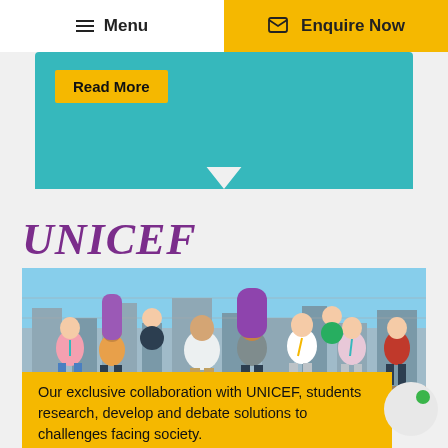Menu | Enquire Now
Read More
UNICEF
[Figure (photo): Group photo of approximately 9 students (diverse, including some wearing hijabs and lanyards) standing outdoors against a chain-link fence with a city skyline in the background on a sunny day.]
Our exclusive collaboration with UNICEF, students research, develop and debate solutions to challenges facing society.